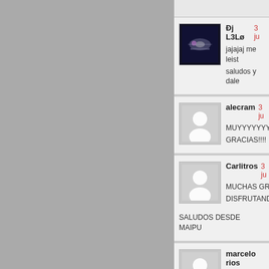Ðj L3Lø  3 ju
jajajaj me leist
saludos y dale
alecram  3 ju
MUYYYYYY
GRACIAS!!!!
Carlitros  3 ju
MUCHAS GR
DISFRUTAND
SALUDOS DESDE MAIPU
marcelo rios
hola escuche la
espero tu respu